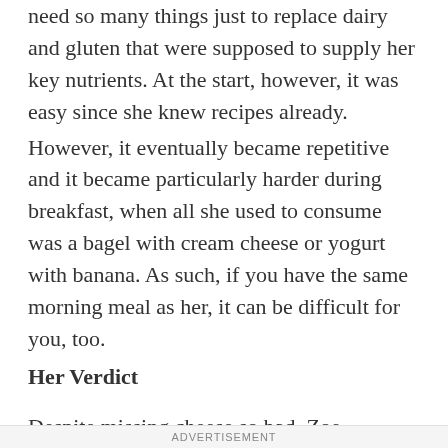need so many things just to replace dairy and gluten that were supposed to supply her key nutrients. At the start, however, it was easy since she knew recipes already.
However, it eventually became repetitive and it became particularly harder during breakfast, when all she used to consume was a bagel with cream cheese or yogurt with banana. As such, if you have the same morning meal as her, it can be difficult for you, too.
Her Verdict
Despite missing cheese so bad, Zoe admitted that she suffered less bloating and that she was more energized than usual. However, she said that she
ADVERTISEMENT